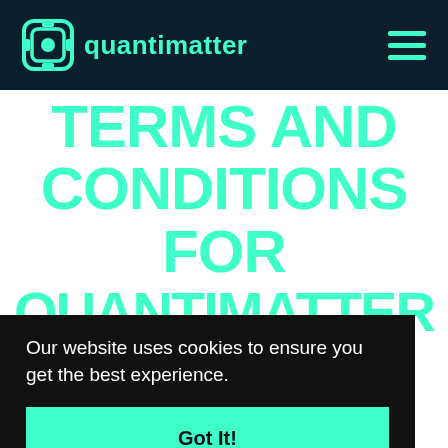[Figure (logo): Quantimatter logo with teal icon and teal text on dark navy header bar]
TERMS AND CONDITIONS FOR QUANTIMATTER BV
Our website uses cookies to ensure you get the best experience.
Got It!
manage your use of our website,